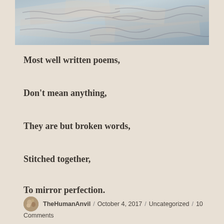[Figure (photo): Close-up photo of handwritten papers or letters, bluish-gray toned, with overlapping script text visible]
Most well written poems,
Don't mean anything,
They are but broken words,
Stitched together,
To mirror perfection.
TheHumanAnvil / October 4, 2017 / Uncategorized / 10 Comments